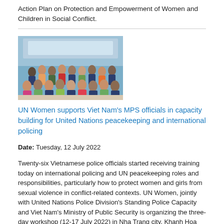Action Plan on Protection and Empowerment of Women and Children in Social Conflict.
[Figure (photo): Group photo of approximately 26 Vietnamese police officials and UN Women staff posing together indoors for a group photograph.]
UN Women supports Viet Nam's MPS officials in capacity building for United Nations peacekeeping and international policing
Date: Tuesday, 12 July 2022
Twenty-six Vietnamese police officials started receiving training today on international policing and UN peacekeeping roles and responsibilities, particularly how to protect women and girls from sexual violence in conflict-related contexts. UN Women, jointly with United Nations Police Division's Standing Police Capacity and Viet Nam's Ministry of Public Security is organizing the three-day workshop (12-17 July 2022) in Nha Trang city, Khanh Hoa province.